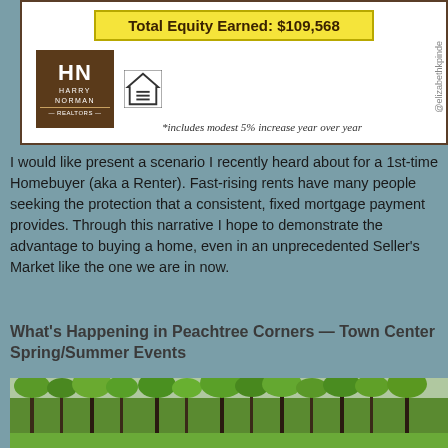[Figure (infographic): Harry Norman Realtors branding box with yellow highlighted Total Equity Earned: $109,568, HN logo, Equal Housing logo, footnote about 5% increase, and @elizabethkpinde watermark]
I would like present a scenario I recently heard about for a 1st-time Homebuyer (aka a Renter). Fast-rising rents have many people seeking the protection that a consistent, fixed mortgage payment provides. Through this narrative I hope to demonstrate the advantage to buying a home, even in an unprecedented Seller's Market like the one we are in now.
What's Happening in Peachtree Corners — Town Center Spring/Summer Events
[Figure (photo): Outdoor photo of tall pine trees and green leafy trees at what appears to be a park or town center event space, with string lights visible between trees and a pergola or gazebo structure on the right side]